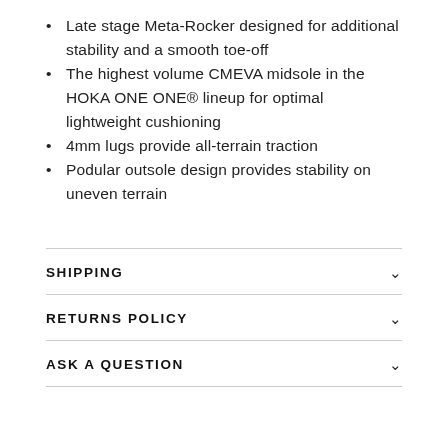Late stage Meta-Rocker designed for additional stability and a smooth toe-off
The highest volume CMEVA midsole in the HOKA ONE ONE® lineup for optimal lightweight cushioning
4mm lugs provide all-terrain traction
Podular outsole design provides stability on uneven terrain
SHIPPING
RETURNS POLICY
ASK A QUESTION